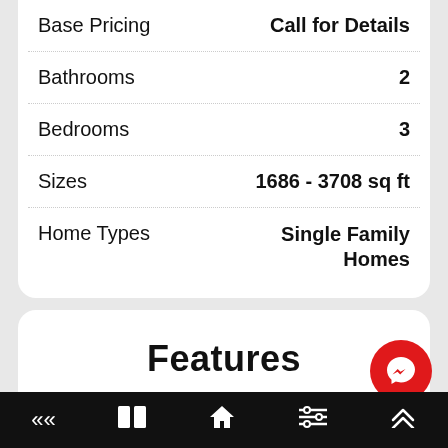| Property | Value |
| --- | --- |
| Base Pricing | Call for Details |
| Bathrooms | 2 |
| Bedrooms | 3 |
| Sizes | 1686 - 3708 sq ft |
| Home Types | Single Family Homes |
Features
Within our 133-acre community,